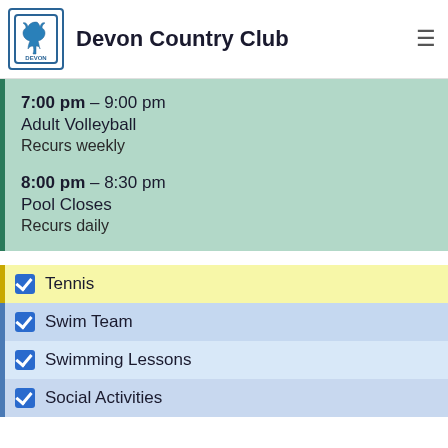Devon Country Club
7:00 pm – 9:00 pm
Adult Volleyball
Recurs weekly
8:00 pm – 8:30 pm
Pool Closes
Recurs daily
Tennis
Swim Team
Swimming Lessons
Social Activities